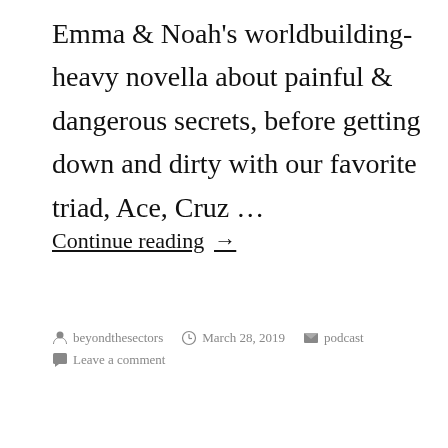Emma & Noah's worldbuilding-heavy novella about painful & dangerous secrets, before getting down and dirty with our favorite triad, Ace, Cruz …
Continue reading →
beyondthesectors   March 28, 2019   podcast   Leave a comment